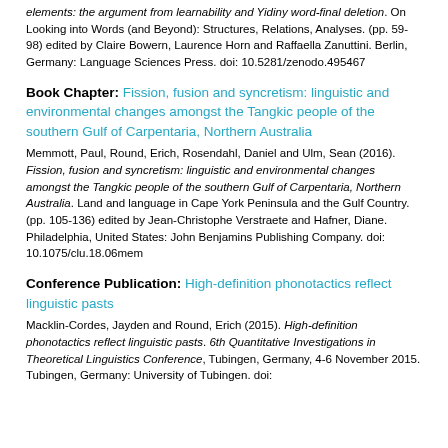elements: the argument from learnability and Yidiny word-final deletion. On Looking into Words (and Beyond): Structures, Relations, Analyses. (pp. 59-98) edited by Claire Bowern, Laurence Horn and Raffaella Zanuttini. Berlin, Germany: Language Sciences Press. doi: 10.5281/zenodo.495467
Book Chapter: Fission, fusion and syncretism: linguistic and environmental changes amongst the Tangkic people of the southern Gulf of Carpentaria, Northern Australia
Memmott, Paul, Round, Erich, Rosendahl, Daniel and Ulm, Sean (2016). Fission, fusion and syncretism: linguistic and environmental changes amongst the Tangkic people of the southern Gulf of Carpentaria, Northern Australia. Land and language in Cape York Peninsula and the Gulf Country. (pp. 105-136) edited by Jean-Christophe Verstraete and Hafner, Diane. Philadelphia, United States: John Benjamins Publishing Company. doi: 10.1075/clu.18.06mem
Conference Publication: High-definition phonotactics reflect linguistic pasts
Macklin-Cordes, Jayden and Round, Erich (2015). High-definition phonotactics reflect linguistic pasts. 6th Quantitative Investigations in Theoretical Linguistics Conference, Tubingen, Germany, 4-6 November 2015. Tubingen, Germany: University of Tubingen. doi: